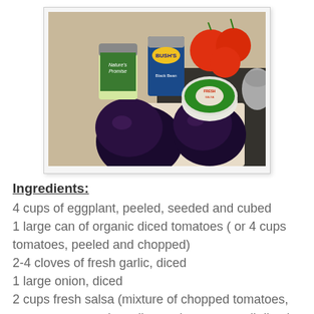[Figure (photo): Photo of recipe ingredients on a table: two eggplants, cans of Nature's Promise tomatoes and Bush's Black Beans, fresh tomatoes on the vine, and a container of fresh salsa]
Ingredients:
4 cups of eggplant, peeled, seeded and cubed
1 large can of organic diced tomatoes ( or 4 cups tomatoes, peeled and chopped)
2-4 cloves of fresh garlic, diced
1 large onion, diced
2 cups fresh salsa (mixture of chopped tomatoes, green pepper, onion, cilantro, hot pepper all diced small)